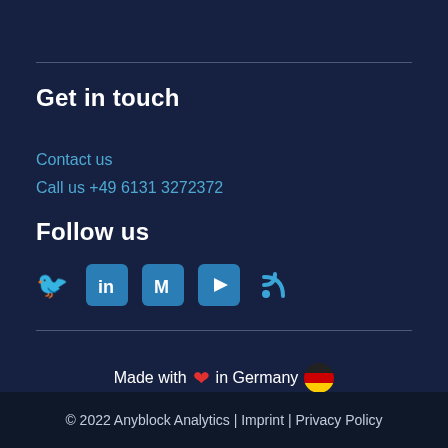Get in touch
Contact us
Call us +49 6131 3272372
Follow us
[Figure (other): Social media icons: Twitter, LinkedIn, Medium, YouTube, RSS feed]
Made with ❤ in Germany 🇩🇪
© 2022 Anyblock Analytics | Imprint | Privacy Policy